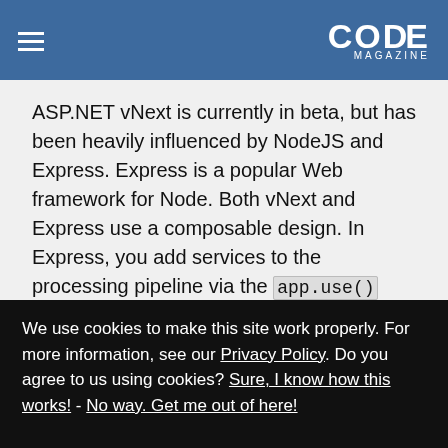CODE MAGAZINE
ASP.NET vNext is currently in beta, but has been heavily influenced by NodeJS and Express. Express is a popular Web framework for Node. Both vNext and Express use a composable design. In Express, you add services to the processing pipeline via the app.use() function. In vNext, it's app.UseServices() . In both ecosystems, you can use services you want and change them as needed.
We use cookies to make this site work properly. For more information, see our Privacy Policy. Do you agree to us using cookies? Sure, I know how this works! - No way. Get me out of here!